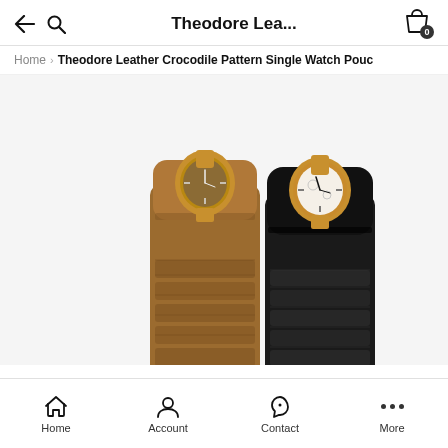Theodore Lea...
Home > Theodore Leather Crocodile Pattern Single Watch Pouc
[Figure (photo): Two leather crocodile pattern watch pouches side by side — one tan/brown on the left and one black on the right — each holding a wristwatch partially inserted at the top.]
Home  Account  Contact  More